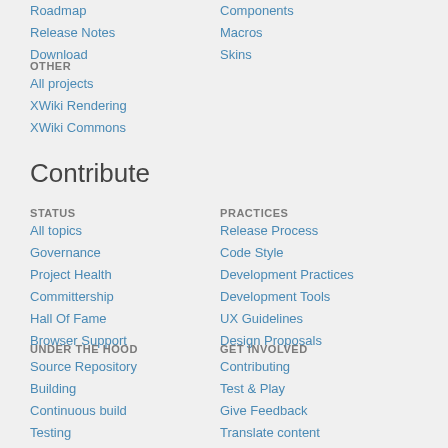Roadmap
Release Notes
Download
Components
Macros
Skins
OTHER
All projects
XWiki Rendering
XWiki Commons
Contribute
STATUS
All topics
Governance
Project Health
Committership
Hall Of Fame
Browser Support
PRACTICES
Release Process
Code Style
Development Practices
Development Tools
UX Guidelines
Design Proposals
UNDER THE HOOD
Source Repository
Building
Continuous build
Testing
Debugging
Profiling
GET INVOLVED
Contributing
Test & Play
Give Feedback
Translate content
Write Documentation
Report and Fix Bugs
Report a vulnerability